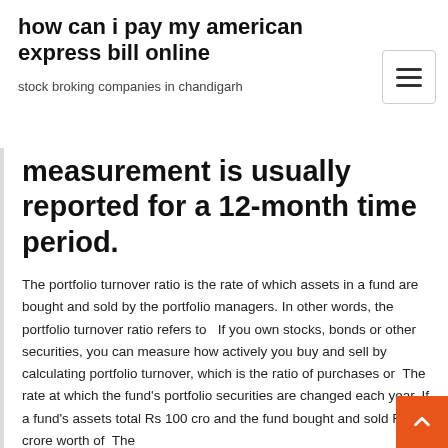how can i pay my american express bill online
stock broking companies in chandigarh
measurement is usually reported for a 12-month time period.
The portfolio turnover ratio is the rate of which assets in a fund are bought and sold by the portfolio managers. In other words, the portfolio turnover ratio refers to   If you own stocks, bonds or other securities, you can measure how actively you buy and sell by calculating portfolio turnover, which is the ratio of purchases or  The rate at which the fund's portfolio securities are changed each year. If a fund's assets total Rs 100 cro and the fund bought and sold Rs 100 crore worth of  The